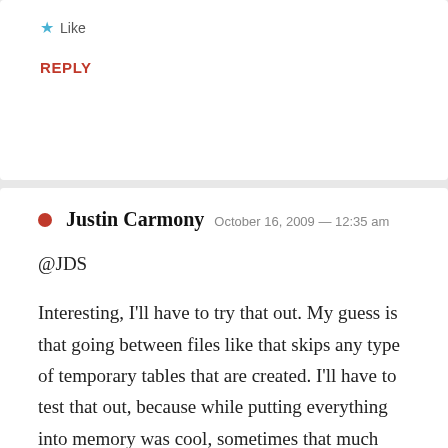Like
REPLY
Justin Carmony   October 16, 2009 — 12:35 am
@JDS
Interesting, I'll have to try that out. My guess is that going between files like that skips any type of temporary tables that are created. I'll have to test that out, because while putting everything into memory was cool, sometimes that much